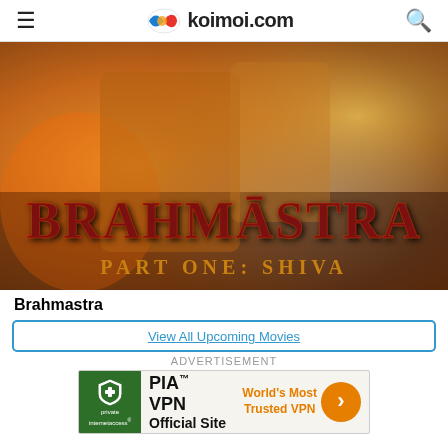koimoi.com
[Figure (photo): Movie promotional banner for Brahmastra Part One: Shiva, showing large stylized text 'BRAHMĀSTRA' and subtitle 'PART ONE: SHIVA' over a warm golden-orange background with dramatic lighting and figures]
Brahmastra
View All Upcoming Movies
ADVERTISEMENT
[Figure (other): PIA VPN advertisement banner. Logo of private internet access on green background. Text: PIA™ VPN Official Site. World's Most Trusted VPN with orange arrow button.]